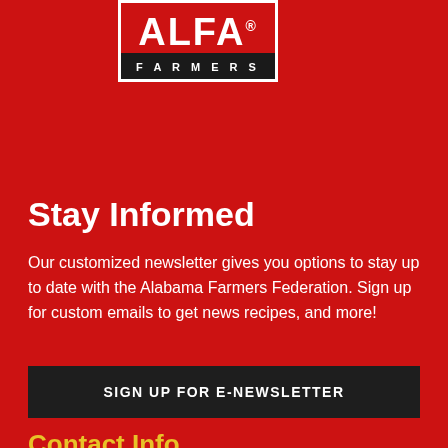[Figure (logo): ALFA Farmers logo — white text on red with black FARMERS bar at bottom]
Stay Informed
Our customized newsletter gives you options to stay up to date with the Alabama Farmers Federation. Sign up for custom emails to get news recipes, and more!
SIGN UP FOR E-NEWSLETTER
Contact Info